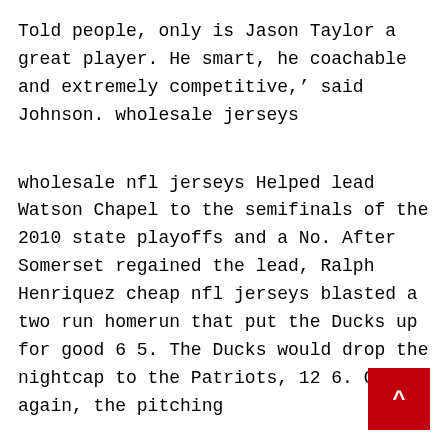Told people, only is Jason Taylor a great player. He smart, he coachable and extremely competitive,' said Johnson. wholesale jerseys
wholesale nfl jerseys Helped lead Watson Chapel to the semifinals of the 2010 state playoffs and a No. After Somerset regained the lead, Ralph Henriquez cheap nfl jerseys blasted a two run homerun that put the Ducks up for good 6 5. The Ducks would drop the nightcap to the Patriots, 12 6. Once again, the pitching